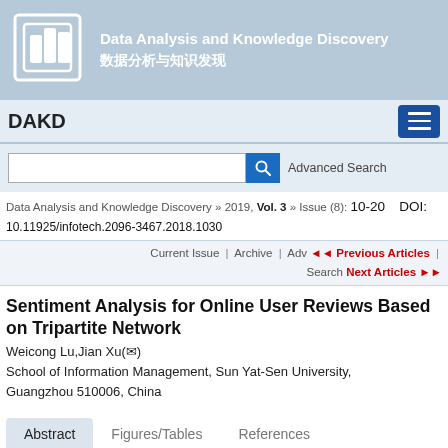Data Analysis and Knowledge Discovery 数据分析与知识发现
DAKD
Data Analysis and Knowledge Discovery » 2019, Vol. 3 » Issue (8): 10-20   DOI: 10.11925/infotech.2096-3467.2018.1030
Current Issue | Archive | Adv Search   Previous Articles | Next Articles
Sentiment Analysis for Online User Reviews Based on Tripartite Network
Weicong Lu,Jian Xu(✉)
School of Information Management, Sun Yat-Sen University, Guangzhou 510006, China
Abstract   Figures/Tables   References